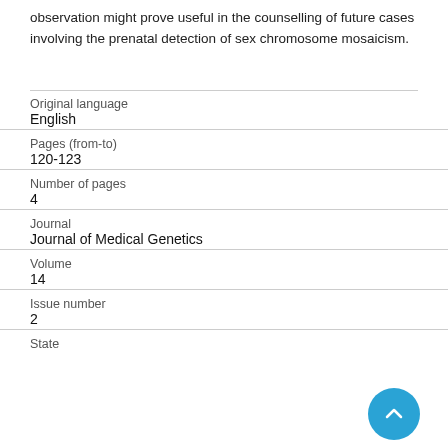observation might prove useful in the counselling of future cases involving the prenatal detection of sex chromosome mosaicism.
| Original language | English |
| Pages (from-to) | 120-123 |
| Number of pages | 4 |
| Journal | Journal of Medical Genetics |
| Volume | 14 |
| Issue number | 2 |
| State |  |